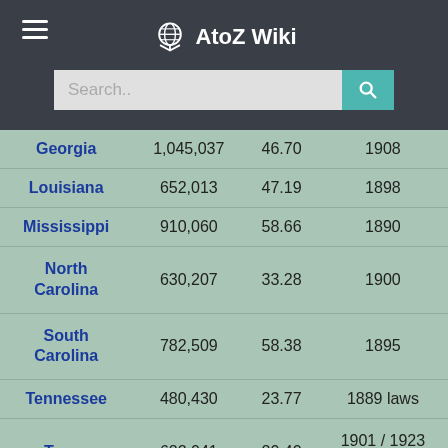AtoZ Wiki
| State | Population | Percent | Year |
| --- | --- | --- | --- |
| Georgia | 1,045,037 | 46.70 | 1908 |
| Louisiana | 652,013 | 47.19 | 1898 |
| Mississippi | 910,060 | 58.66 | 1890 |
| North Carolina | 630,207 | 33.28 | 1900 |
| South Carolina | 782,509 | 58.38 | 1895 |
| Tennessee | 480,430 | 23.77 | 1889 laws |
| Texas | 622,041 | 20.40 | 1901 / 1923 laws |
| Virginia | 661,329 | 35.69 | 1902 |
| Total | 7,189,364 | 37.94 |  |